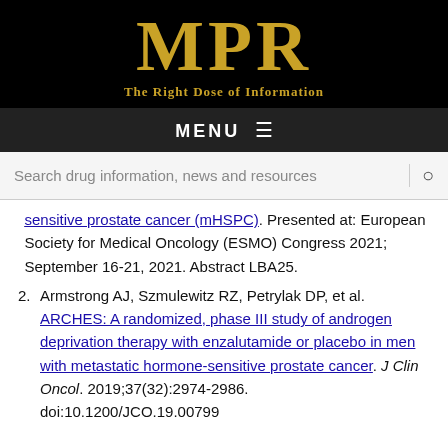[Figure (logo): MPR logo with tagline 'The Right Dose of Information' on black background]
MENU ≡
Search drug information, news and resources
sensitive prostate cancer (mHSPC). Presented at: European Society for Medical Oncology (ESMO) Congress 2021; September 16-21, 2021. Abstract LBA25.
Armstrong AJ, Szmulewitz RZ, Petrylak DP, et al. ARCHES: A randomized, phase III study of androgen deprivation therapy with enzalutamide or placebo in men with metastatic hormone-sensitive prostate cancer. J Clin Oncol. 2019;37(32):2974-2986. doi:10.1200/JCO.19.00799